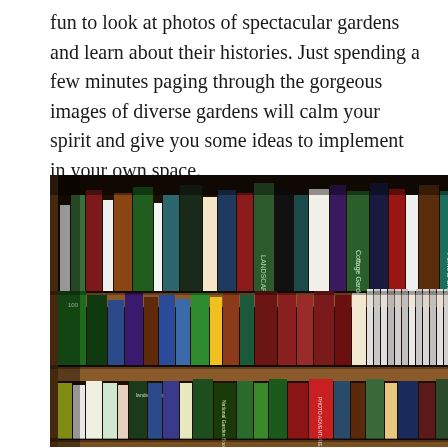fun to look at photos of spectacular gardens and learn about their histories. Just spending a few minutes paging through the gorgeous images of diverse gardens will calm your spirit and give you some ideas to implement in your own space.
[Figure (photo): A wooden bookshelf filled with multiple shelves of books, including gardening books. Visible titles include 'National Garden Book', 'PHOTO ADVENTURES', and others. The shelves are packed with books of various colors and sizes.]